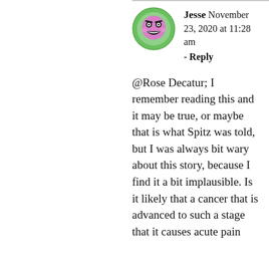[Figure (illustration): Circular avatar icon showing a cartoon face with a purple/pink pentagonal head, grinning expression, and green circular border]
Jesse November 23, 2020 at 11:28 am - Reply
@Rose Decatur; I remember reading this and it may be true, or maybe that is what Spitz was told, but I was always bit wary about this story, because I find it a bit implausible. Is it likely that a cancer that is advanced to such a stage that it causes acute pain